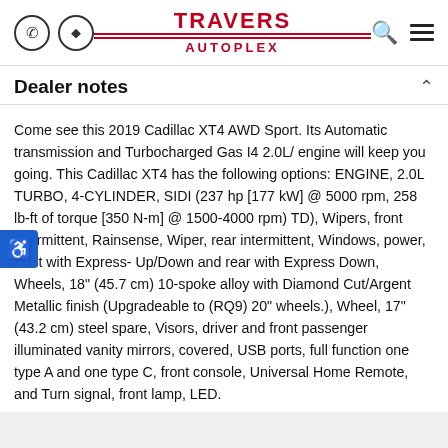TRAVERS AUTOPLEX — header with phone, directions, search and menu icons
Dealer notes
Come see this 2019 Cadillac XT4 AWD Sport. Its Automatic transmission and Turbocharged Gas I4 2.0L/ engine will keep you going. This Cadillac XT4 has the following options: ENGINE, 2.0L TURBO, 4-CYLINDER, SIDI (237 hp [177 kW] @ 5000 rpm, 258 lb-ft of torque [350 N-m] @ 1500-4000 rpm) TD), Wipers, front intermittent, Rainsense, Wiper, rear intermittent, Windows, power, front with Express- Up/Down and rear with Express Down, Wheels, 18" (45.7 cm) 10-spoke alloy with Diamond Cut/Argent Metallic finish (Upgradeable to (RQ9) 20" wheels.), Wheel, 17" (43.2 cm) steel spare, Visors, driver and front passenger illuminated vanity mirrors, covered, USB ports, full function one type A and one type C, front console, Universal Home Remote, and Turn signal, front lamp, LED.